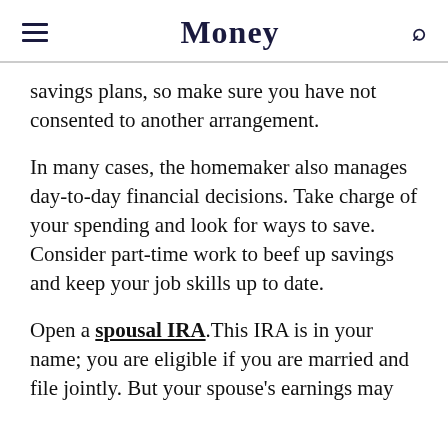Money
savings plans, so make sure you have not consented to another arrangement.
In many cases, the homemaker also manages day-to-day financial decisions. Take charge of your spending and look for ways to save. Consider part-time work to beef up savings and keep your job skills up to date.
Open a spousal IRA. This IRA is in your name; you are eligible if you are married and file jointly. But your spouse's earnings may